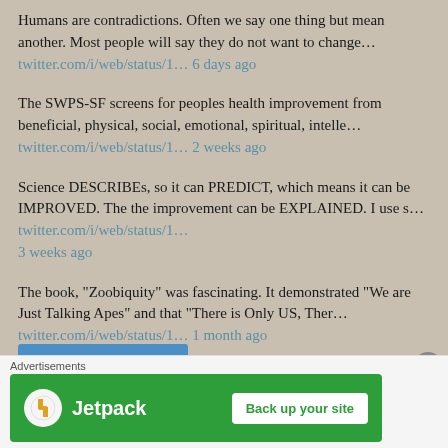Humans are contradictions. Often we say one thing but mean another. Most people will say they do not want to change… twitter.com/i/web/status/1… 6 days ago
The SWPS-SF screens for peoples health improvement from beneficial, physical, social, emotional, spiritual, intelle… twitter.com/i/web/status/1… 2 weeks ago
Science DESCRIBEs, so it can PREDICT, which means it can be IMPROVED. The the improvement can be EXPLAINED. I use s… twitter.com/i/web/status/1… 3 weeks ago
The book, "Zoobiquity" was fascinating. It demonstrated "We are Just Talking Apes" and that "There is Only US, Ther… twitter.com/i/web/status/1… 1 month ago
II have tremendous respect for John List, PhD and many of his recommendations. However as I kept reading his new bo… twitter.com/i/web/status/1… 1 month ago
[Figure (screenshot): Jetpack advertisement banner with green background, Jetpack logo and 'Back up your site' button]